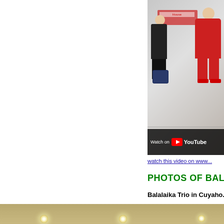[Figure (screenshot): YouTube video thumbnail showing two performers in red Russian folk costumes standing outside a building. A 'Watch on YouTube' bar overlays the bottom of the image.]
watch this video on www...
PHOTOS OF BALAL...
Balalaika Trio in Cuyaho...
[Figure (photo): Interior photo of a performance venue with beige pleated blinds, dark wood dividers, recessed ceiling lights, and a person in a red outfit with white hair and a necklace visible at the bottom right.]